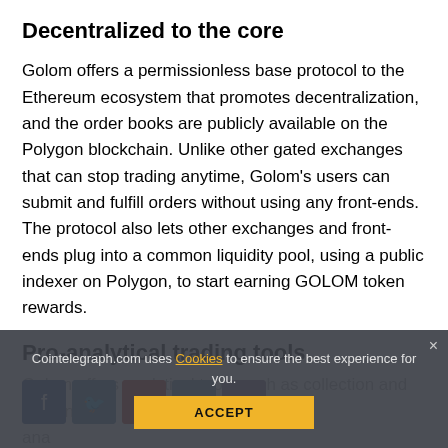Decentralized to the core
Golom offers a permissionless base protocol to the Ethereum ecosystem that promotes decentralization, and the order books are publicly available on the Polygon blockchain. Unlike other gated exchanges that can stop trading anytime, Golom’s users can submit and fulfill orders without using any front-ends. The protocol also lets other exchanges and front-ends plug into a common liquidity pool, using a public indexer on Polygon, to start earning GOLOM token rewards.
Pro-analytical trading tools
Golom offers analytical tools such as collection and trait ana... oth...
Cointelegraph.com uses Cookies to ensure the best experience for you.